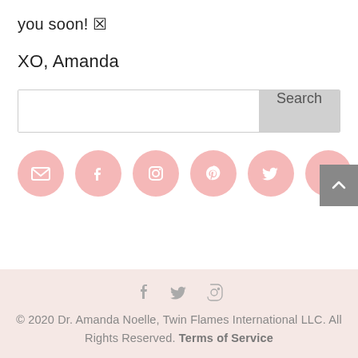you soon! 🔲
XO, Amanda
[Figure (screenshot): Search bar with text input field and Search button]
[Figure (illustration): Row of pink circular social media icons: email, Facebook, Instagram, Pinterest, Twitter, YouTube]
© 2020 Dr. Amanda Noelle, Twin Flames International LLC. All Rights Reserved. Terms of Service